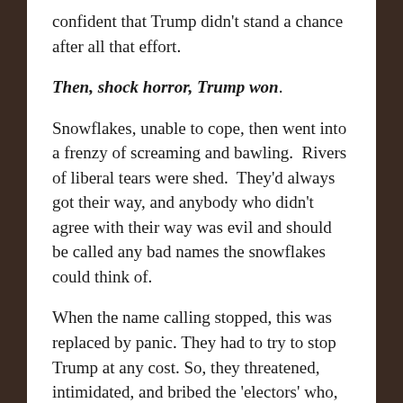confident that Trump didn't stand a chance after all that effort.
Then, shock horror, Trump won.
Snowflakes, unable to cope, then went into a frenzy of screaming and bawling.  Rivers of liberal tears were shed.  They'd always got their way, and anybody who didn't agree with their way was evil and should be called any bad names the snowflakes could think of.
When the name calling stopped, this was replaced by panic. They had to try to stop Trump at any cost. So, they threatened, intimidated, and bribed the 'electors' who, as part of the electoral college